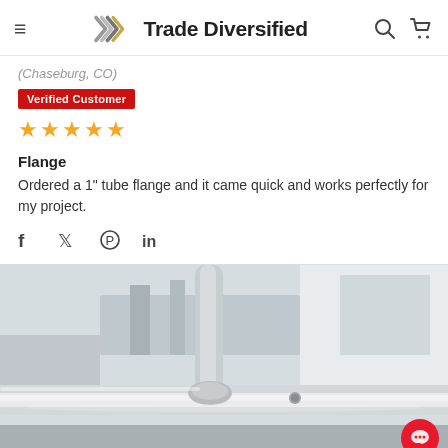Trade Diversified
(Chaseburg, CO)
Verified Customer
★★★★★
Flange
Ordered a 1" tube flange and it came quick and works perfectly for my project.
[Figure (photo): Close-up photo of a shiny chrome/stainless steel tube flange fitting, with a workshop background.]